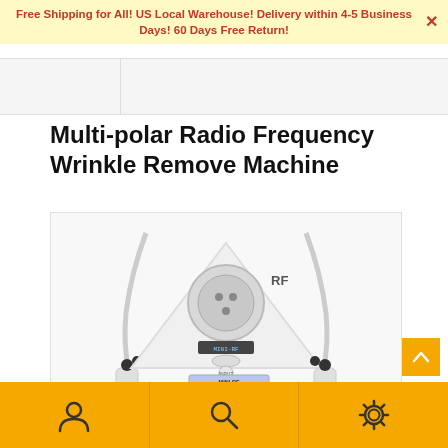Free Shipping for All! US Local Warehouse! Delivery within 4-5 Business Days! 60 Days Free Return!
[Figure (photo): Navigation bar area with logo placeholder on left and content area on right]
Multi-polar Radio Frequency Wrinkle Remove Machine
[Figure (photo): Product photo of a Mini-RF multi-polar radio frequency wrinkle remove machine showing white triangular device with RF label, circular probe, display panel, and two handheld wands with cables, plus a product manual booklet (MINI-RF)]
Bottom navigation bar with person/account icon, search icon, and settings/gear icon